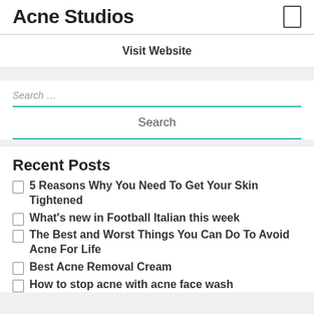Acne Studios
Visit Website
Search …
Search
Recent Posts
5 Reasons Why You Need To Get Your Skin Tightened
What's new in Football Italian this week
The Best and Worst Things You Can Do To Avoid Acne For Life
Best Acne Removal Cream
How to stop acne with acne face wash